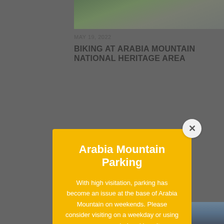[Figure (photo): Top portion of a photo showing green vegetation and a path, partially visible at top of page]
MAY 19, 2022
BIKING AT ARABIA MOUNTAIN NATIONAL HERITAGE AREA
[Figure (infographic): Yellow modal popup overlay with title 'Arabia Mountain Parking' and parking advisory text with a close button]
[Figure (photo): Bottom portion of a photo showing blue sky and trees, partially visible at bottom of page]